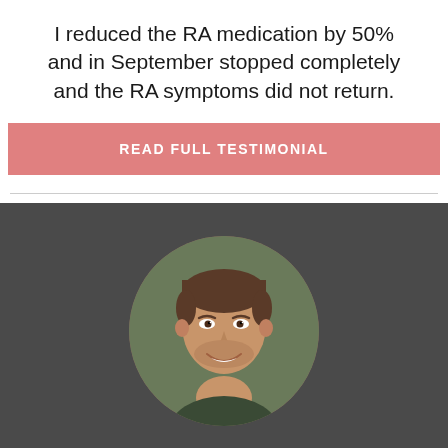I reduced the RA medication by 50% and in September stopped completely and the RA symptoms did not return.
READ FULL TESTIMONIAL
[Figure (photo): Circular portrait photo of a smiling young man with short brown hair and light stubble, wearing a dark green top, photographed against a blurred green background. The photo is displayed in a circular crop on a dark gray background.]